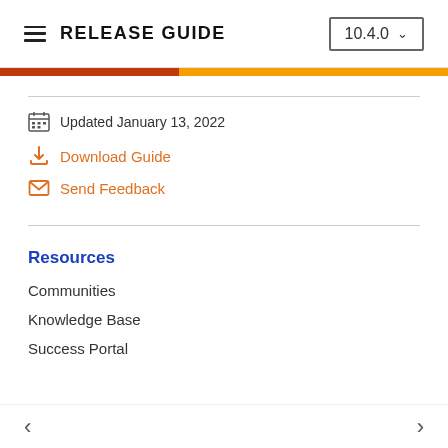RELEASE GUIDE  10.4.0
Updated January 13, 2022
Download Guide
Send Feedback
Resources
Communities
Knowledge Base
Success Portal
< >